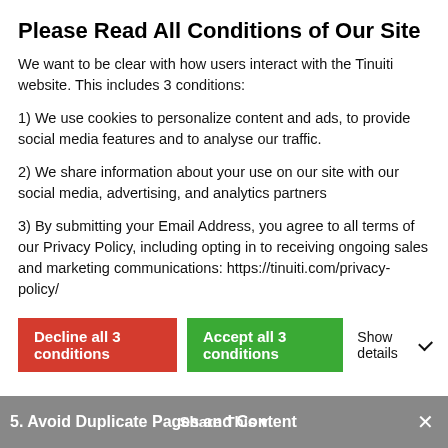Please Read All Conditions of Our Site
We want to be clear with how users interact with the Tinuiti website. This includes 3 conditions:
1) We use cookies to personalize content and ads, to provide social media features and to analyse our traffic.
2) We share information about your use on our site with our social media, advertising, and analytics partners
3) By submitting your Email Address, you agree to all terms of our Privacy Policy, including opting in to receiving ongoing sales and marketing communications: https://tinuiti.com/privacy-policy/
Decline all 3 conditions | Accept all 3 conditions | Show details
website mobile-friendly, you can check out Elite SEM's Mobile-first Checklist.
5. Avoid Duplicate Pages and Content
Share This